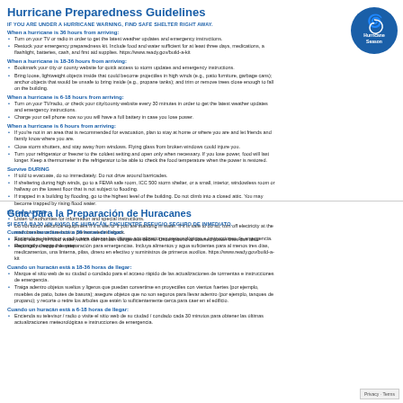Hurricane Preparedness Guidelines
IF YOU ARE UNDER A HURRICANE WARNING, FIND SAFE SHELTER RIGHT AWAY.
When a hurricane is 36 hours from arriving:
Turn on your TV or radio in order to get the latest weather updates and emergency instructions.
Restock your emergency preparedness kit. Include food and water sufficient for at least three days, medications, a flashlight, batteries, cash, and first aid supplies. https://www.ready.gov/build-a-kit
When a hurricane is 18-36 hours from arriving:
Bookmark your city or county website for quick access to storm updates and emergency instructions.
Bring loose, lightweight objects inside that could become projectiles in high winds (e.g., patio furniture, garbage cans); anchor objects that would be unsafe to bring inside (e.g., propane tanks); and trim or remove trees close enough to fall on the building.
When a hurricane is 6-18 hours from arriving:
Turn on your TV/radio, or check your city/county website every 30 minutes in order to get the latest weather updates and emergency instructions.
Charge your cell phone now so you will have a full battery in case you lose power.
When a hurricane is 6 hours from arriving:
If you're not in an area that is recommended for evacuation, plan to stay at home or where you are and let friends and family know where you are.
Close storm shutters, and stay away from windows. Flying glass from broken windows could injure you.
Turn your refrigerator or freezer to the coldest setting and open only when necessary. If you lose power, food will last longer. Keep a thermometer in the refrigerator to be able to check the food temperature when the power is restored.
Survive DURING
If told to evacuate, do so immediately. Do not drive around barricades.
If sheltering during high winds, go to a FEMA safe room, ICC 500 storm shelter, or a small, interior, windowless room or hallway on the lowest floor that is not subject to flooding.
If trapped in a building by flooding, go to the highest level of the building. Do not climb into a closed attic. You may become trapped by rising flood water.
Be Safe AFTER
Listen to authorities for information and special instructions.
Do not touch electrical equipment if it is wet or if you are standing in water. If it is safe to do so, turn off electricity at the main breaker or fuse box to prevent electric shock.
Avoid wading in flood water, which can contain dangerous debris. Underground or downed power lines can also electrically charge the water.
Guía para la Preparación de Huracanes
SI ESTÁ BAJO UN AVISO DE HURACÁN, ENCUENTRE REFUGIO SEGURO DE INMEDIATO.
Cuando un huracán está a 36 horas de llegar:
Encienda su televisor o radio para obtener las últimas actualizaciones meteorológicas e instrucciones de emergencia.
Reponga su equipo de preparación para emergencias. Incluya alimentos y agua suficientes para al menos tres días, medicamentos, una linterna, pilas, dinero en efectivo y suministros de primeros auxilios. https://www.ready.gov/build-a-kit
Cuando un huracán está a 18-36 horas de llegar:
Marque el sitio web de su ciudad o condado para el acceso rápido de las actualizaciones de tormentas e instrucciones de emergencia.
Traiga adentro objetos sueltos y ligeros que puedan convertirse en proyectiles con vientos fuertes (por ejemplo, muebles de patio, botes de basura); asegure objetos que no son seguros para llevar adentro (por ejemplo, tanques de propano); y recorte o retire los árboles que estén lo suficientemente cerca para caer en el edificio.
Cuando un huracán está a 6-18 horas de llegar:
Encienda su televisor / radio o visite el sitio web de su ciudad / condado cada 30 minutos para obtener las últimas actualizaciones meteorológicas e instrucciones de emergencia.